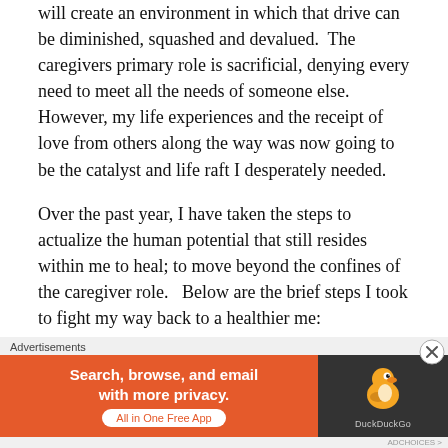will create an environment in which that drive can be diminished, squashed and devalued.  The caregivers primary role is sacrificial, denying every need to meet all the needs of someone else.  However, my life experiences and the receipt of love from others along the way was now going to be the catalyst and life raft I desperately needed.
Over the past year, I have taken the steps to actualize the human potential that still resides within me to heal; to move beyond the confines of the caregiver role.   Below are the brief steps I took to fight my way back to a healthier me:
1. Mental H...
[Figure (infographic): DuckDuckGo advertisement banner: orange background with text 'Search, browse, and email with more privacy. All in One Free App' and DuckDuckGo duck logo on dark right panel. 'Advertisements' label above banner. Close button (X) in upper right corner.]